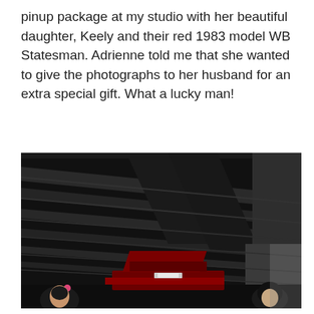pinup package at my studio with her beautiful daughter, Keely and their red 1983 model WB Statesman. Adrienne told me that she wanted to give the photographs to her husband for an extra special gift. What a lucky man!
[Figure (photo): Dark indoor photo showing the underside/ceiling of what appears to be a parking structure or industrial building with dark beams/rafters. In the lower portion, a red 1983 WB Statesman car is visible with its hood/boot open. Two women with pinup styling are partially visible at the bottom corners — one on the left with pink hair accessory and one on the right with dark hair.]